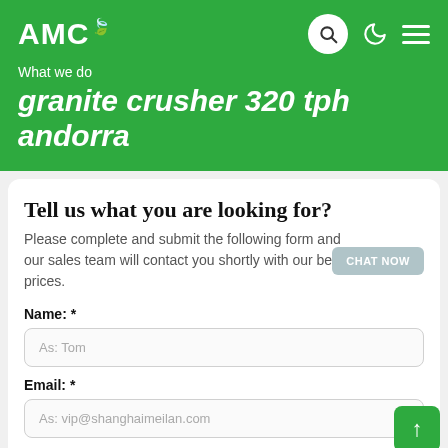AMC
What we do
granite crusher 320 tph andorra
Tell us what you are looking for?
Please complete and submit the following form and our sales team will contact you shortly with our best prices.
CHAT NOW
Name: *
As: Tom
Email: *
As: vip@shanghaimeilan.com
Phone: *
With Country Code